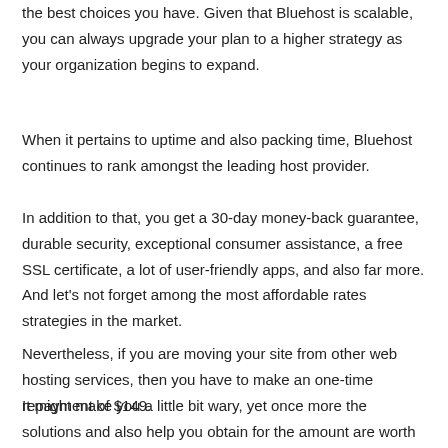the best choices you have. Given that Bluehost is scalable, you can always upgrade your plan to a higher strategy as your organization begins to expand.
When it pertains to uptime and also packing time, Bluehost continues to rank amongst the leading host provider.
In addition to that, you get a 30-day money-back guarantee, durable security, exceptional consumer assistance, a free SSL certificate, a lot of user-friendly apps, and also far more. And let's not forget among the most affordable rates strategies in the market.
Nevertheless, if you are moving your site from other web hosting services, then you have to make an one-time repayment of $149.
It might make you a little bit wary, yet once more the solutions and also help you obtain for the amount are worth it in the end.